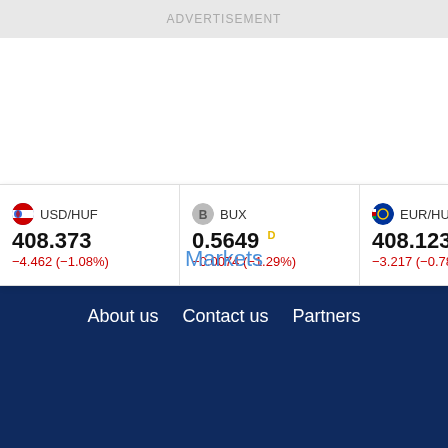ADVERTISEMENT
| Symbol | Value | Change |
| --- | --- | --- |
| USD/HUF | 408.373 | -4.462 (-1.08%) |
| BUX | 0.5649 D | -0.0074 (-1.29%) |
| EUR/HUF | 408.123 | -3.217 (-0.78%) |
| TV | 3.23 D | -0.25 ( |
Markets
About us   Contact us   Partners
This website uses cookies to ensure you get the best experience on our website.
Learn more
Decline
Allow cookies